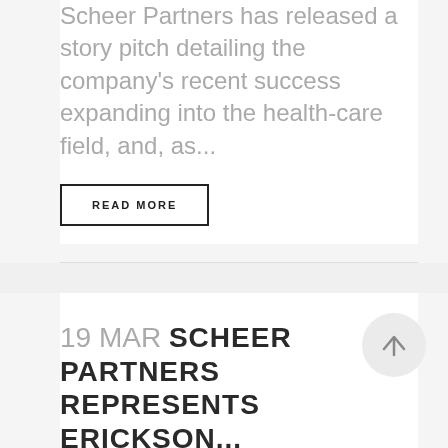Scheer Partners has released a story pitch detailing the company's recent success expanding into the health-care field, and, as...
READ MORE
19 MAR SCHEER PARTNERS REPRESENTS ERICKSON...